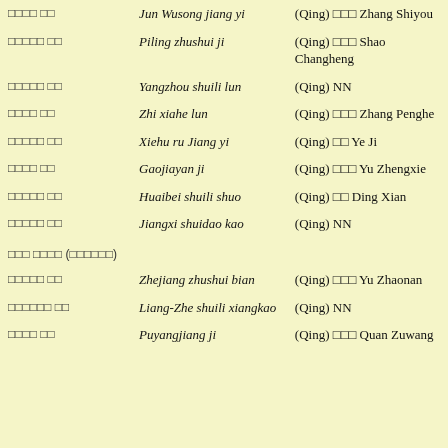| Chinese | Romanization | Attribution |
| --- | --- | --- |
| □□□□ □□ | Jun Wusong jiang yi | (Qing) □□□ Zhang Shiyou |
| □□□□□ □□ | Piling zhushui ji | (Qing) □□□ Shao Changheng |
| □□□□□ □□ | Yangzhou shuili lun | (Qing) NN |
| □□□□ □□ | Zhi xiahe lun | (Qing) □□□ Zhang Penghe |
| □□□□□ □□ | Xiehu ru Jiang yi | (Qing) □□ Ye Ji |
| □□□□ □□ | Gaojiayan ji | (Qing) □□□ Yu Zhengxie |
| □□□□□ □□ | Huaibei shuili shuo | (Qing) □□ Ding Xian |
| □□□□□ □□ | Jiangxi shuidao kao | (Qing) NN |
| □□□ □□□□ (□□□□□□) |  |  |
| □□□□□ □□ | Zhejiang zhushui bian | (Qing) □□□ Yu Zhaonan |
| □□□□□□ □□ | Liang-Zhe shuili xiangkao | (Qing) NN |
| □□□□ □□ | Puyangjiang ji | (Qing) □□□ Quan Zuwang |